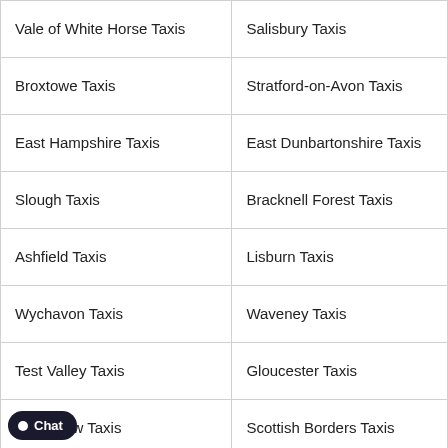| Vale of White Horse Taxis | Salisbury Taxis |
| Broxtowe Taxis | Stratford-on-Avon Taxis |
| East Hampshire Taxis | East Dunbartonshire Taxis |
| Slough Taxis | Bracknell Forest Taxis |
| Ashfield Taxis | Lisburn Taxis |
| Wychavon Taxis | Waveney Taxis |
| Test Valley Taxis | Gloucester Taxis |
| Bassetlaw Taxis | Scottish Borders Taxis |
| Cannon Street Station Taxis | Charing Cross Station Taxis |
| Edinburgh Station Taxis | Euston Station Taxis |
| Glasgow Queen Street Station Taxis | Highbury and Islington Station T |
| [...]station Taxis | Liverpool Central Station Taxis |